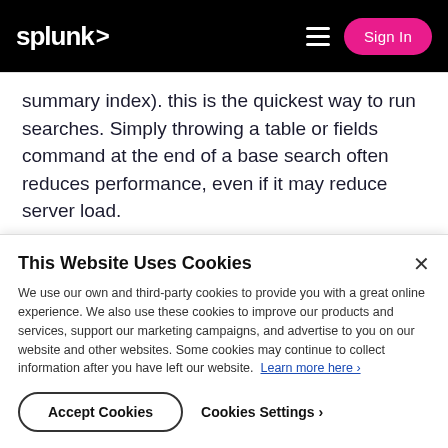splunk> Sign In
summary index).  this is the quickest way to run searches.  Simply throwing a table or fields command at the end of a base search often reduces performance, even if it may reduce server load.

Another reason to use the si- commands is to
This Website Uses Cookies
We use our own and third-party cookies to provide you with a great online experience. We also use these cookies to improve our products and services, support our marketing campaigns, and advertise to you on our website and other websites. Some cookies may continue to collect information after you have left our website.  Learn more here ›
Accept Cookies
Cookies Settings ›